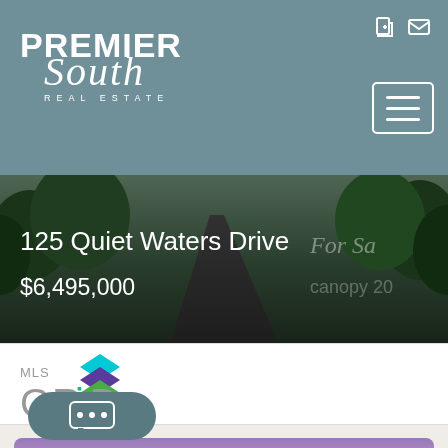PREMIER South REAL ESTATE
[Figure (photo): Property listing hero image showing a driveway lined with trees, with overlay text showing address and price. Text overlaid: '125 Quiet Waters Drive', '$6,495,000', 'For Sa[le]', 'canopy 20[24]']
[Figure (logo): MLS GRID logo — stacked colored diamond layers (teal, purple, green) with 'MLS' text above and 'GRID' in large gray letters below]
[Figure (photo): Property listing card with 'MOST EXPENSIVE' badge, showing a mansion at dusk with purple/pink sky and tree line. Chat button overlay at bottom left with ellipsis (...)]